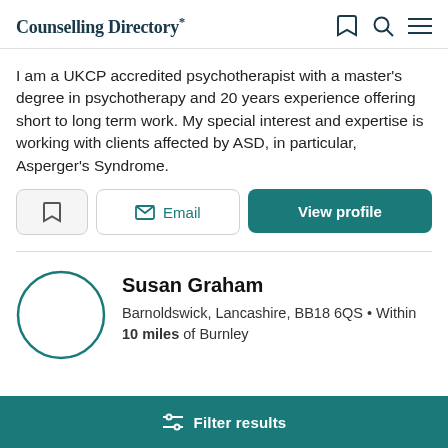Counselling Directory
I am a UKCP accredited psychotherapist with a master's degree in psychotherapy and 20 years experience offering short to long term work. My special interest and expertise is working with clients affected by ASD, in particular, Asperger's Syndrome.
Susan Graham
Barnoldswick, Lancashire, BB18 6QS • Within 10 miles of Burnley
Filter results